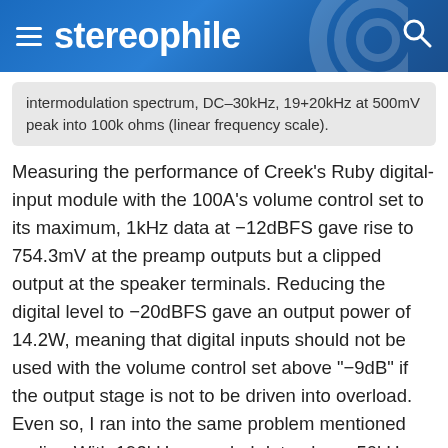stereophile
intermodulation spectrum, DC–30kHz, 19+20kHz at 500mV peak into 100k ohms (linear frequency scale).
Measuring the performance of Creek's Ruby digital-input module with the 100A's volume control set to its maximum, 1kHz data at −12dBFS gave rise to 754.3mV at the preamp outputs but a clipped output at the speaker terminals. Reducing the digital level to −20dBFS gave an output power of 14.2W, meaning that digital inputs should not be used with the volume control set above "−9dB" if the output stage is not to be driven into overload. Even so, I ran into the same problem mentioned earlier: With 192kHz-sampled data above 50kHz, the amplifier